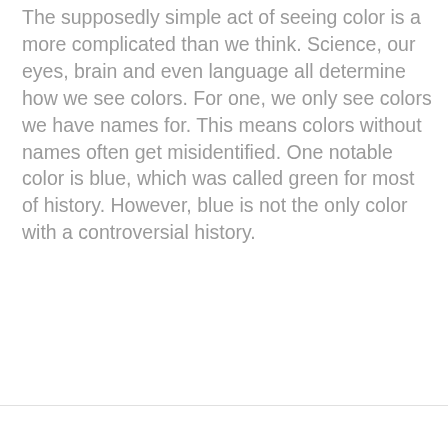The supposedly simple act of seeing color is a more complicated than we think. Science, our eyes, brain and even language all determine how we see colors. For one, we only see colors we have names for. This means colors without names often get misidentified. One notable color is blue, which was called green for most of history. However, blue is not the only color with a controversial history.